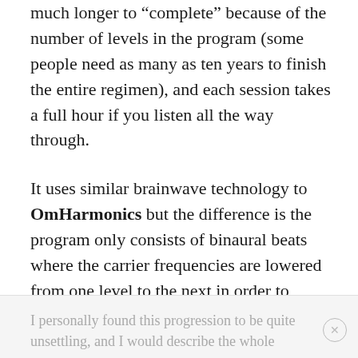much longer to “complete” because of the number of levels in the program (some people need as many as ten years to finish the entire regimen), and each session takes a full hour if you listen all the way through.
It uses similar brainwave technology to OmHarmonics but the difference is the program only consists of binaural beats where the carrier frequencies are lowered from one level to the next in order to progress from one state of consciousness and a sudden and energetic clearing to the next.
I personally found this progression to be quite unsettling, and I would describe the whole